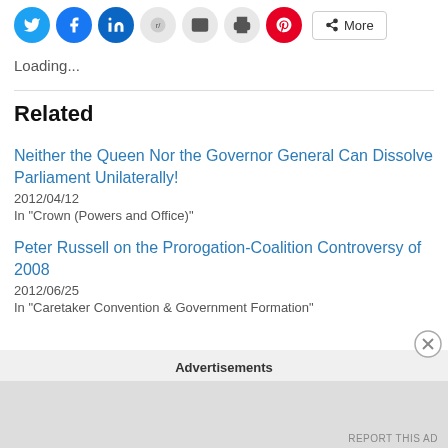[Figure (other): Social share buttons row: Twitter, Facebook, LinkedIn, Reddit, Email, Print, Pinterest, and a More button]
Loading...
Related
Neither the Queen Nor the Governor General Can Dissolve Parliament Unilaterally!
2012/04/12
In "Crown (Powers and Office)"
Peter Russell on the Prorogation-Coalition Controversy of 2008
2012/06/25
In "Caretaker Convention & Government Formation"
Advertisements